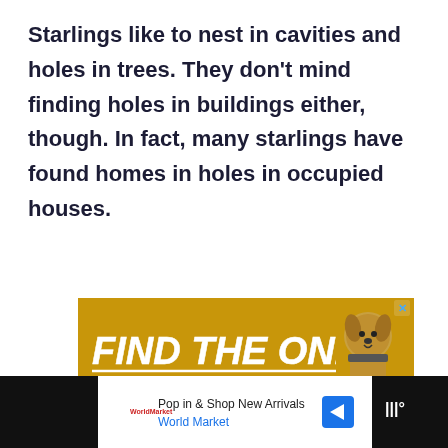Starlings like to nest in cavities and holes in trees. They don't mind finding holes in buildings either, though. In fact, many starlings have found homes in holes in occupied houses.
[Figure (other): Advertisement banner with gold/yellow background reading 'FIND THE ONE' in bold white italic text, with a dog image on the right side and a close (x) button in the top right corner.]
[Figure (other): Mobile browser footer bar with dark background on sides and white center section showing a 'Pop in & Shop New Arrivals / World Market' advertisement with a blue navigation arrow icon.]